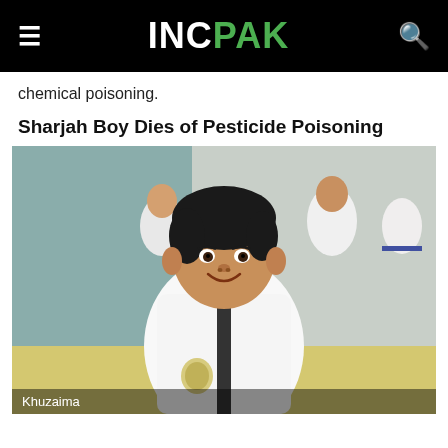INCPAK
chemical poisoning.
Sharjah Boy Dies of Pesticide Poisoning
[Figure (photo): A young boy in a taekwondo uniform (white dobok with black collar stripe) smiling at the camera, with other children in similar uniforms in the background, in what appears to be a martial arts training room.]
Khuzaima